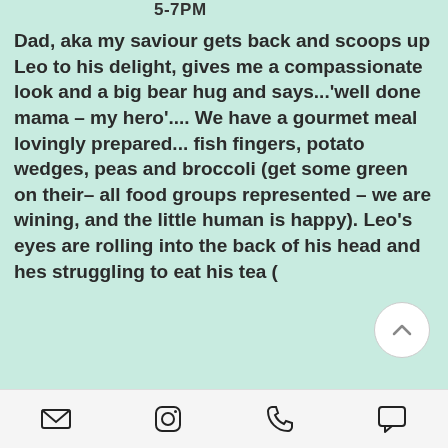5-7PM
Dad, aka my saviour gets back and scoops up Leo to his delight, gives me a compassionate look and a big bear hug and says...'well done mama – my hero'.... We have a gourmet meal lovingly prepared... fish fingers, potato wedges, peas and broccoli (get some green on their– all food groups represented – we are wining, and the little human is happy). Leo's eyes are rolling into the back of his head and hes struggling to eat his tea (
email | instagram | phone | chat icons